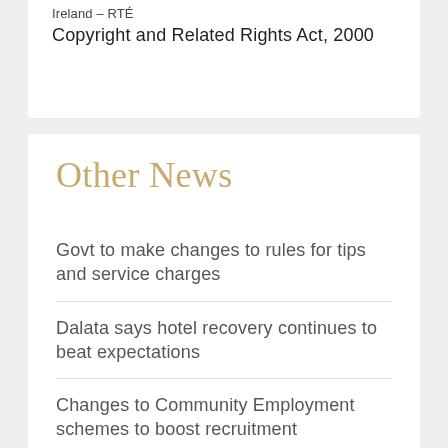Ireland – RTÉ
Copyright and Related Rights Act, 2000
Other News
Govt to make changes to rules for tips and service charges
Dalata says hotel recovery continues to beat expectations
Changes to Community Employment schemes to boost recruitment